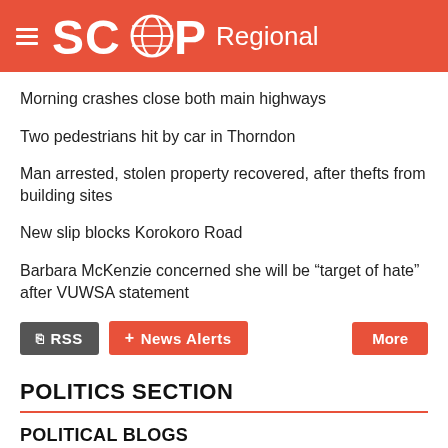SCOOP Regional
Morning crashes close both main highways
Two pedestrians hit by car in Thorndon
Man arrested, stolen property recovered, after thefts from building sites
New slip blocks Korokoro Road
Barbara McKenzie concerned she will be “target of hate” after VUWSA statement
POLITICS SECTION
POLITICAL BLOGS
Public Address
KiwiBlog
No Right Turn
Pundit